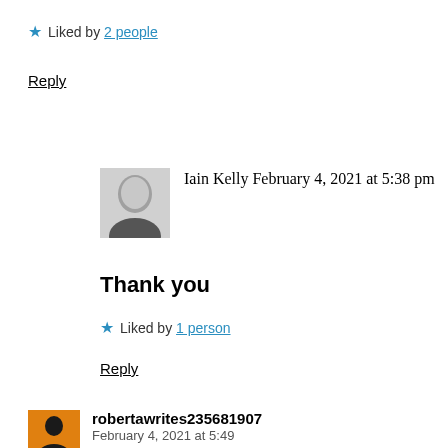★ Liked by 2 people
Reply
[Figure (photo): Black and white profile photo of Iain Kelly, a bald man]
Iain Kelly
February 4, 2021 at 5:38 pm
Thank you
★ Liked by 1 person
Reply
[Figure (photo): Small avatar thumbnail for robertawrites235681907, orange background with silhouette]
robertawrites235681907
February 4, 2021 at 5:49